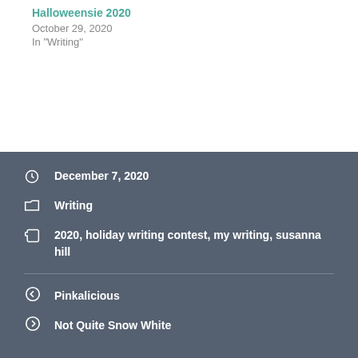Halloweensie 2020
October 29, 2020
In "Writing"
December 7, 2020
Writing
2020, holiday writing contest, my writing, susanna hill
Pinkalicious
Not Quite Snow White
16 thoughts on “Holiday Helper, Night Before Christmas”